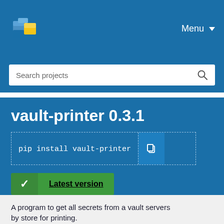[Figure (logo): PyPI logo: stacked blue and yellow cube blocks]
Menu
Search projects
vault-printer 0.3.1
pip install vault-printer
Latest version
Released: Sep 15, 2019
A program to get all secrets from a vault servers by store for printing.